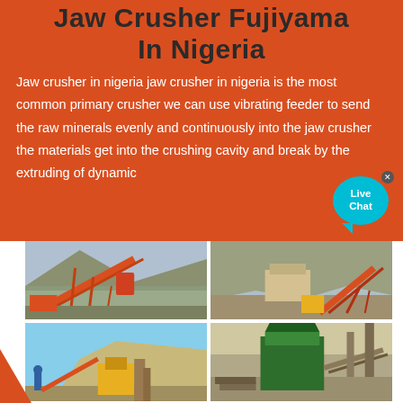Jaw Crusher Fujiyama In Nigeria
Jaw crusher in nigeria jaw crusher in nigeria is the most common primary crusher we can use vibrating feeder to send the raw minerals evenly and continuously into the jaw crusher the materials get into the crushing cavity and break by the extruding of dynamic
[Figure (photo): Four photos of jaw crusher / mining equipment installations in Nigeria showing conveyor belts, crushers, and industrial machinery in quarry settings]